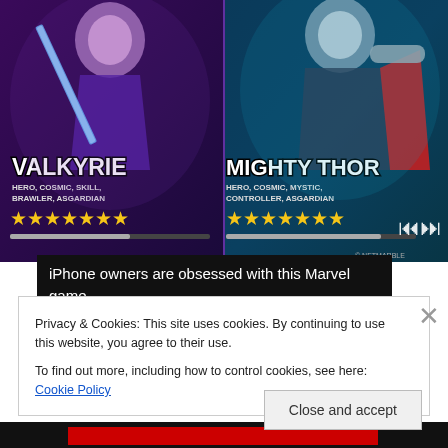[Figure (screenshot): Marvel game advertisement banner showing two characters: Valkyrie (Hero, Cosmic, Skill, Brawler, Asgardian) and Mighty Thor (Hero, Cosmic, Mystic, Controller, Asgardian), each shown with star ratings and progress bars. Navigation controls visible on right side.]
iPhone owners are obsessed with this Marvel game
Privacy & Cookies: This site uses cookies. By continuing to use this website, you agree to their use.
To find out more, including how to control cookies, see here: Cookie Policy
Close and accept